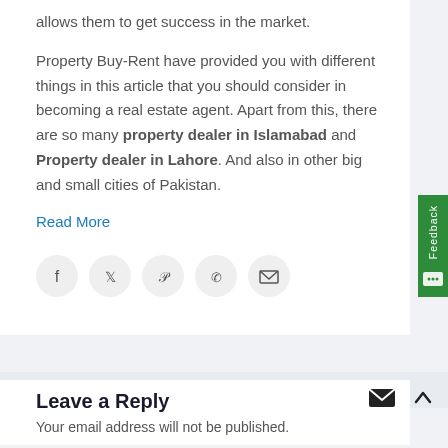allows them to get success in the market.
Property Buy-Rent have provided you with different things in this article that you should consider in becoming a real estate agent. Apart from this, there are so many property dealer in Islamabad and Property dealer in Lahore. And also in other big and small cities of Pakistan.
Read More
[Figure (other): Social share icons: Facebook, Twitter, Pinterest, WhatsApp, Email]
[Figure (other): Feedback tab on right side, green vertical tab]
Leave a Reply
Your email address will not be published.